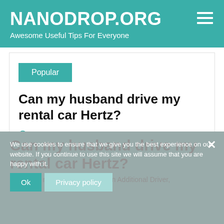NANODROP.ORG — Awesome Useful Tips For Everyone
Popular
Can my husband drive my rental car Hertz?
Posted on 08/08/2020
We use cookies to ensure that we give you the best experience on our website. If you continue to use this site we will assume that you are happy with it.
Can my husband drive my rental car Hertz?
Yes. If the renter wishes to add an Additional Driver,